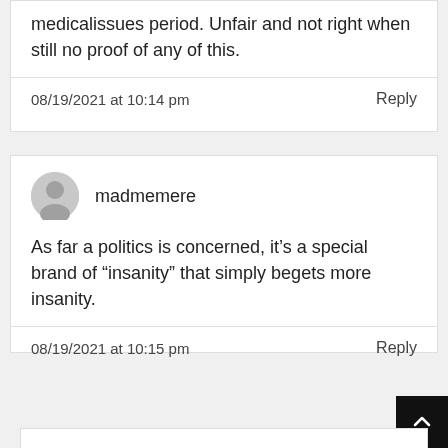medicalissues period. Unfair and not right when still no proof of any of this.
08/19/2021 at 10:14 pm
Reply
madmemere
As far a politics is concerned, it's a special brand of “insanity” that simply begets more insanity.
08/19/2021 at 10:15 pm
Reply